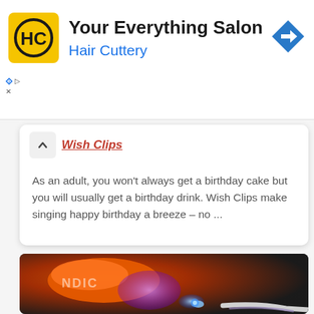[Figure (logo): Hair Cuttery advertisement banner with HC logo, tagline 'Your Everything Salon' and brand name 'Hair Cuttery' with a blue diamond direction arrow icon]
Wish Clips
As an adult, you won't always get a birthday cake but you will usually get a birthday drink. Wish Clips make singing happy birthday a breeze – no ...
[Figure (photo): Close-up photo of a glowing orange and purple device labeled BONDIC with a UV light tip, on a dark textured carbon fiber surface with a cable nearby]